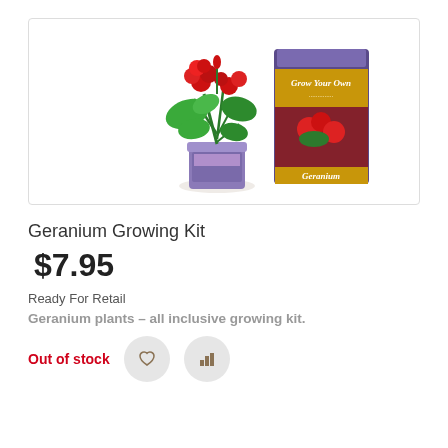[Figure (photo): Product photo showing a geranium plant with red flowers in a purple pot alongside a 'Grow Your Own Geranium' seed kit box]
Geranium Growing Kit
$7.95
Ready For Retail
Geranium plants – all inclusive growing kit.
Out of stock